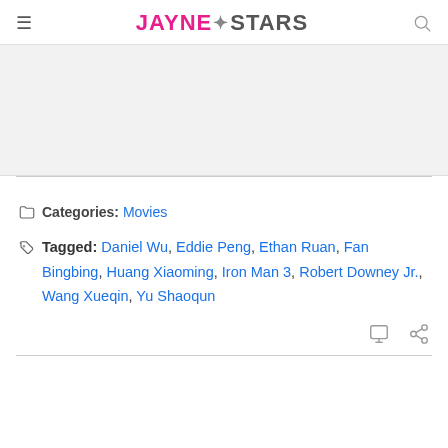JayneStars
Categories: Movies
Tagged: Daniel Wu, Eddie Peng, Ethan Ruan, Fan Bingbing, Huang Xiaoming, Iron Man 3, Robert Downey Jr., Wang Xueqin, Yu Shaoqun